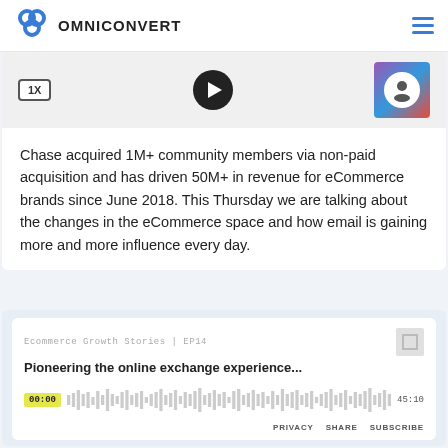OMNICONVERT
[Figure (screenshot): Podcast player widget showing 1X speed button, play button, and thumbnail image]
Chase acquired 1M+ community members via non-paid acquisition and has driven 50M+ in revenue for eCommerce brands since June 2018. This Thursday we are talking about the changes in the eCommerce space and how email is gaining more and more influence every day.
[Figure (screenshot): Podcast player for 'Ecommerce Growth Stories | EP14 - Pioneering the online exchange experience...' showing waveform at 00:00 of 45:10 with PRIVACY, SHARE, SUBSCRIBE links]